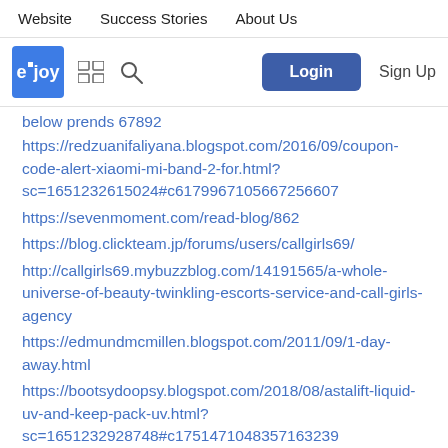Website   Success Stories   About Us
[Figure (screenshot): eJoy logo with grid icon, search icon, Login button, and Sign Up link]
below prends 67892
https://redzuanifaliyana.blogspot.com/2016/09/coupon-code-alert-xiaomi-mi-band-2-for.html?sc=1651232615024#c6179967105667256607
https://sevenmoment.com/read-blog/862
https://blog.clickteam.jp/forums/users/callgirls69/
http://callgirls69.mybuzzblog.com/14191565/a-whole-universe-of-beauty-twinkling-escorts-service-and-call-girls-agency
https://edmundmcmillen.blogspot.com/2011/09/1-day-away.html
https://bootsydoopsy.blogspot.com/2018/08/astalift-liquid-uv-and-keep-pack-uv.html?sc=1651232928748#c1751471048357163239
https://shrinaganybridalparty.weebly.com/